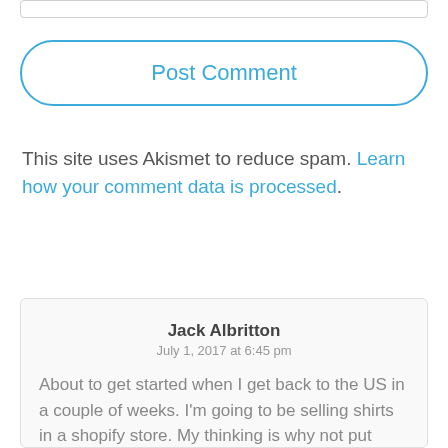[Figure (screenshot): Top input bar/field (partial, cropped at top)]
Post Comment
This site uses Akismet to reduce spam. Learn how your comment data is processed.
Jack Albritton
July 1, 2017 at 6:45 pm
About to get started when I get back to the US in a couple of weeks. I'm going to be selling shirts in a shopify store. My thinking is why not put